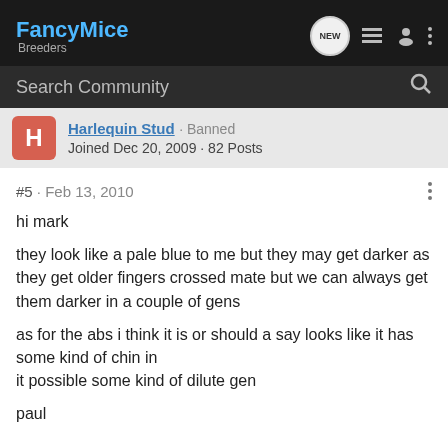FancyMice Breeders
Search Community
Harlequin Stud · Banned
Joined Dec 20, 2009 · 82 Posts
#5 · Feb 13, 2010
hi mark

they look like a pale blue to me but they may get darker as they get older fingers crossed mate but we can always get them darker in a couple of gens

as for the abs i think it is or should a say looks like it has some kind of chin in
it possible some kind of dilute gen

paul